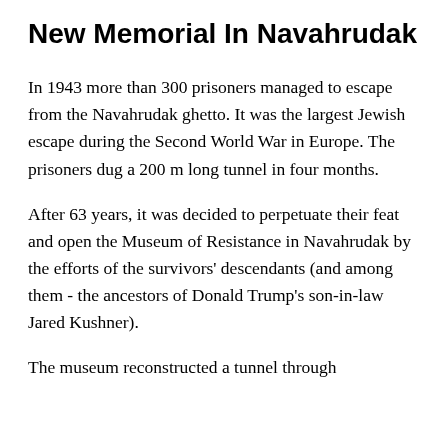New Memorial In Navahrudak
In 1943 more than 300 prisoners managed to escape from the Navahrudak ghetto. It was the largest Jewish escape during the Second World War in Europe. The prisoners dug a 200 m long tunnel in four months.
After 63 years, it was decided to perpetuate their feat and open the Museum of Resistance in Navahrudak by the efforts of the survivors' descendants (and among them - the ancestors of Donald Trump's son-in-law Jared Kushner).
The museum reconstructed a tunnel through